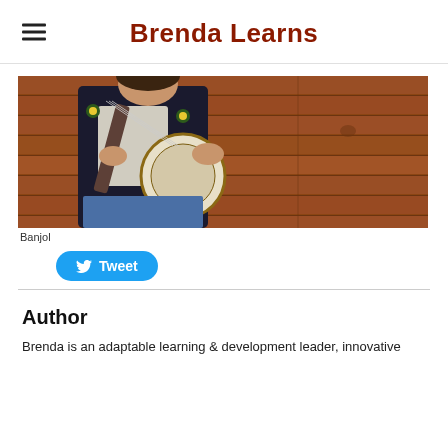Brenda Learns
[Figure (photo): Person playing a banjo against a wooden plank wall background, wearing a dark jacket with floral embroidery.]
Banjol
Tweet
Author
Brenda is an adaptable learning & development leader, innovative